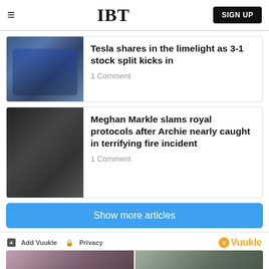IBT
Tesla shares in the limelight as 3-1 stock split kicks in
1 Comment
Meghan Markle slams royal protocols after Archie nearly caught in terrifying fire incident
1 Comment
Show more articles
Add Vuukle  Privacy
[Figure (photo): Two photos shown side by side at the bottom of the page]